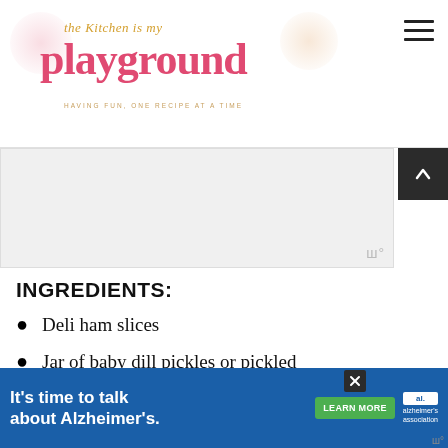the Kitchen is my playground — HAVING FUN, ONE RECIPE AT A TIME
[Figure (other): Advertisement placeholder image (gray rectangle)]
INGREDIENTS:
Deli ham slices
Jar of baby dill pickles or pickled okra
Cream cheese, softened {plain or
[Figure (other): Bottom advertisement banner: It's time to talk about Alzheimer's. LEARN MORE button, Alzheimer's Association logo.]